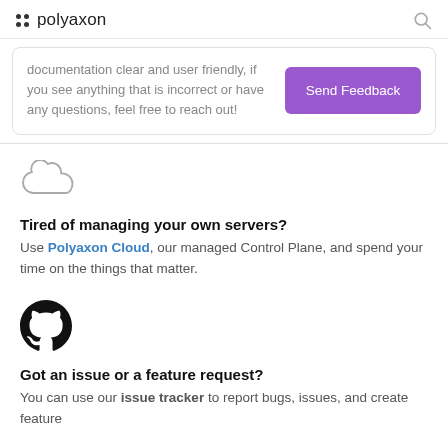polyaxon
documentation clear and user friendly, if you see anything that is incorrect or have any questions, feel free to reach out!
Send Feedback
[Figure (illustration): Cloud outline icon]
Tired of managing your own servers?
Use Polyaxon Cloud, our managed Control Plane, and spend your time on the things that matter.
[Figure (logo): GitHub logo icon (black circle with GitHub octocat)]
Got an issue or a feature request?
You can use our issue tracker to report bugs, issues, and create feature